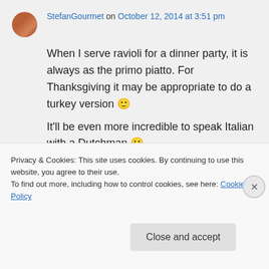StefanGourmet on October 12, 2014 at 3:51 pm
When I serve ravioli for a dinner party, it is always as the primo piatto. For Thanksgiving it may be appropriate to do a turkey version 🙂
It'll be even more incredible to speak Italian with a Dutchman 🙂
Privacy & Cookies: This site uses cookies. By continuing to use this website, you agree to their use. To find out more, including how to control cookies, see here: Cookie Policy